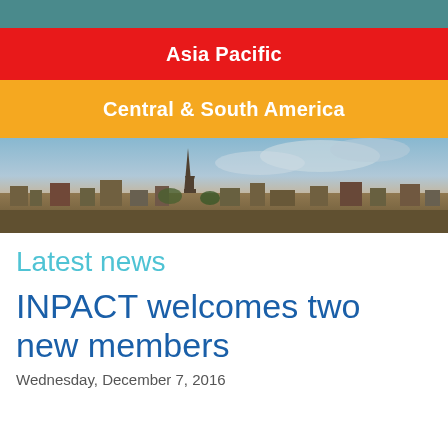Asia Pacific
Central & South America
[Figure (photo): Panoramic view of Paris skyline with Eiffel Tower under dramatic cloudy sky]
Latest news
INPACT welcomes two new members
Wednesday, December 7, 2016